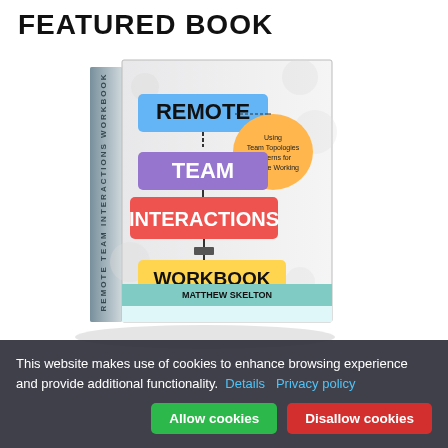FEATURED BOOK
[Figure (photo): Book cover of 'Remote Team Interactions Workbook' by Matthew Skelton and Manuel Pais, showing a 3D rendered book with colorful signpost design]
This website makes use of cookies to enhance browsing experience and provide additional functionality.  Details  Privacy policy
Allow cookies   Disallow cookies